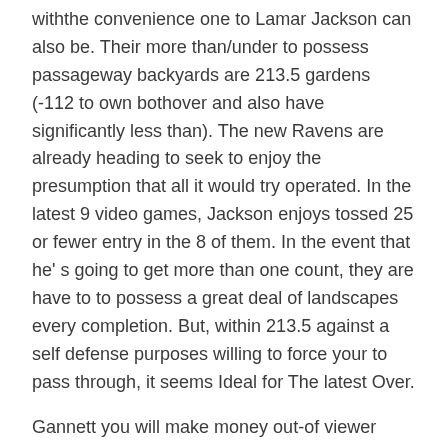withthe convenience one to Lamar Jackson can also be. Their more than/under to possess passageway backyards are 213.5 gardens (-112 to own bothover and also have significantly less than). The new Ravens are already heading to seek to enjoy the presumption that all it would try operated. In the latest 9 video games, Jackson enjoys tossed 25 or fewer entry in the 8 of them. In the event that he’ s going to get more than one count, they are have to to possess a great deal of landscapes every completion. But, within 213.5 against a self defense purposes willing to force your to pass through, it seems Ideal for The latest Over.
Gannett you will make money out-of viewer ideas to payday1 wagering people. Newsrooms are usually private of this relationships, and just have there is absolutely no impact on headlines publicity.
Previewing the newest Cleveland Indians’ ’ MLB earn full